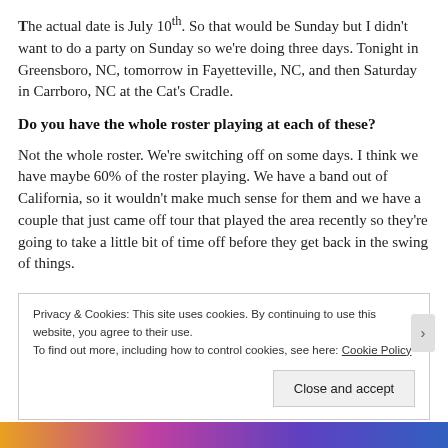The actual date is July 10th. So that would be Sunday but I didn't want to do a party on Sunday so we're doing three days. Tonight in Greensboro, NC, tomorrow in Fayetteville, NC, and then Saturday in Carrboro, NC at the Cat's Cradle.
Do you have the whole roster playing at each of these?
Not the whole roster. We're switching off on some days. I think we have maybe 60% of the roster playing. We have a band out of California, so it wouldn't make much sense for them and we have a couple that just came off tour that played the area recently so they're going to take a little bit of time off before they get back in the swing of things.
Privacy & Cookies: This site uses cookies. By continuing to use this website, you agree to their use.
To find out more, including how to control cookies, see here: Cookie Policy